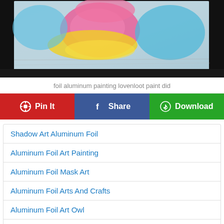[Figure (photo): A photograph of colorful aluminum foil painting with pink, yellow, and blue paint swirled on crinkled foil against a dark background]
foil aluminum painting lovenloot paint did
[Figure (infographic): Three social sharing buttons: Pin It (red, Pinterest), Share (blue, Facebook), Download (green)]
Shadow Art Aluminum Foil
Aluminum Foil Art Painting
Aluminum Foil Mask Art
Aluminum Foil Arts And Crafts
Aluminum Foil Art Owl
Embossing Aluminum Foil Art